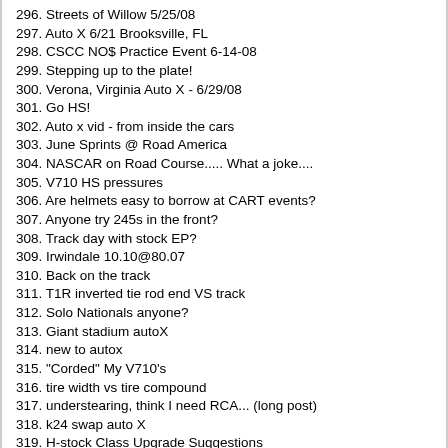296. Streets of Willow 5/25/08
297. Auto X 6/21 Brooksville, FL
298. CSCC NO$ Practice Event 6-14-08
299. Stepping up to the plate!
300. Verona, Virginia Auto X - 6/29/08
301. Go HS!
302. Auto x vid - from inside the cars
303. June Sprints @ Road America
304. NASCAR on Road Course..... What a joke....
305. V710 HS pressures
306. Are helmets easy to borrow at CART events?
307. Anyone try 245s in the front?
308. Track day with stock EP?
309. Irwindale 10.10@80.07
310. Back on the track
311. T1R inverted tie rod end VS track
312. Solo Nationals anyone?
313. Giant stadium autoX
314. new to autox
315. "Corded" My V710's
316. tire width vs tire compound
317. understearing, think I need RCA... (long post)
318. k24 swap auto X
319. H-stock Class Upgrade Suggestions
320. SCCA Improved Touring Classing
321. Understeer Problems
322. Autocross is the shi... vids inside
323. CSCC Autocross 7.17.2010 Anderson, SC
324. Tire Pressure?
325. Wheel and Tire size for Track Days?